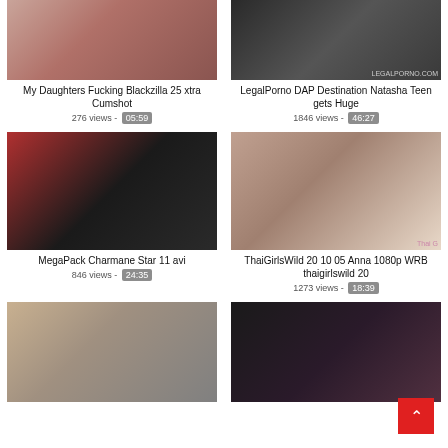[Figure (photo): Video thumbnail 1 - adult content]
My Daughters Fucking Blackzilla 25 xtra Cumshot
276 views - 05:59
[Figure (photo): Video thumbnail 2 - adult content]
LegalPorno DAP Destination Natasha Teen gets Huge
1846 views - 46:27
[Figure (photo): Video thumbnail 3 - adult content]
MegaPack Charmane Star 11 avi
846 views - 24:35
[Figure (photo): Video thumbnail 4 - adult content]
ThaiGirlsWild 20 10 05 Anna 1080p WRB thaigirlswild 20
1273 views - 18:39
[Figure (photo): Video thumbnail 5 - adult content]
[Figure (photo): Video thumbnail 6 - adult content]